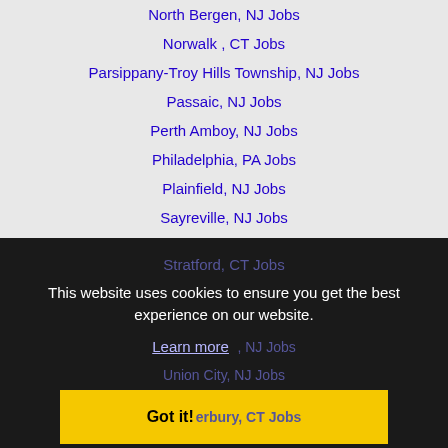North Bergen, NJ Jobs
Norwalk , CT Jobs
Parsippany-Troy Hills Township, NJ Jobs
Passaic, NJ Jobs
Perth Amboy, NJ Jobs
Philadelphia, PA Jobs
Plainfield, NJ Jobs
Sayreville, NJ Jobs
Scranton, PA Jobs
Stamford, CT Jobs
Stratford, CT Jobs
This website uses cookies to ensure you get the best experience on our website.
Learn more
, NJ Jobs
Union City, NJ Jobs
Got it!
erbury, CT Jobs
Wayne, NJ Jobs
West Babylon, NY Jobs